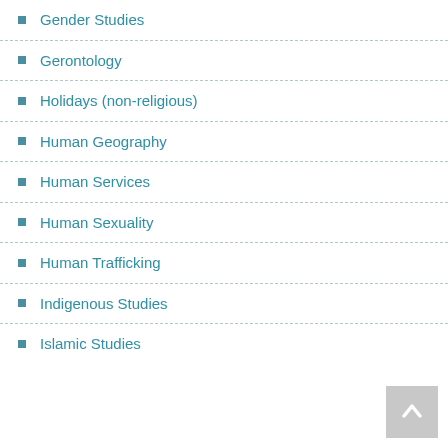Gender Studies
Gerontology
Holidays (non-religious)
Human Geography
Human Services
Human Sexuality
Human Trafficking
Indigenous Studies
Islamic Studies